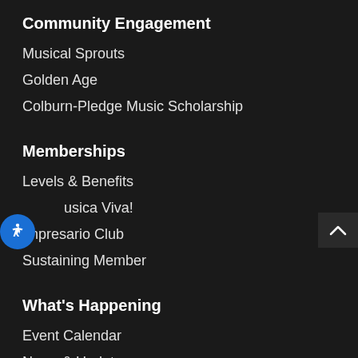Community Engagement
Musical Sprouts
Golden Age
Colburn-Pledge Music Scholarship
Memberships
Levels & Benefits
Musica Viva!
Impresario Club
Sustaining Member
What's Happening
Event Calendar
News & Updates
About